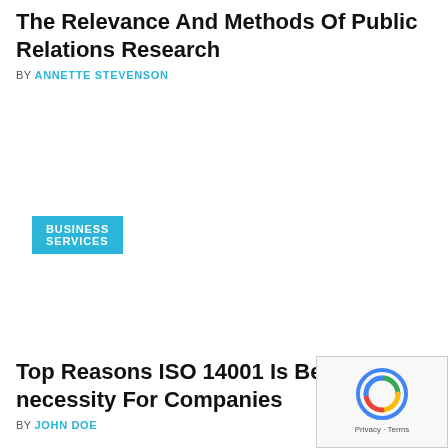The Relevance And Methods Of Public Relations Research
BY ANNETTE STEVENSON
BUSINESS SERVICES
Top Reasons ISO 14001 Is Becoming A necessity For Companies
BY JOHN DOE